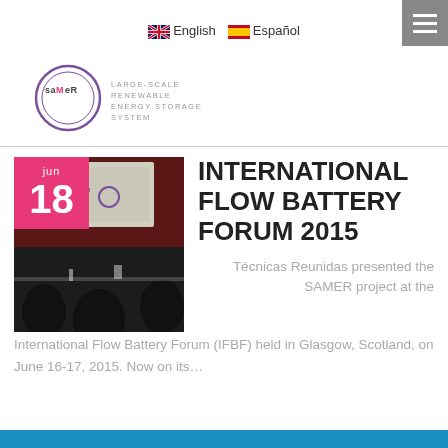English  Español
[Figure (logo): SAMER logo — Large-Scale Renewable Energy Storage System, circular logo with text]
[Figure (photo): Photo of a conference room with a projection screen showing SAMER project presentation, tables and chairs in foreground]
INTERNATIONAL FLOW BATTERY FORUM 2015
Técnicas Reunidas presented the SAMER project at the International Flow Battery Forum (IFBF) held in Glasgow, Scotland, on June 16-17, 2015. Now on its…